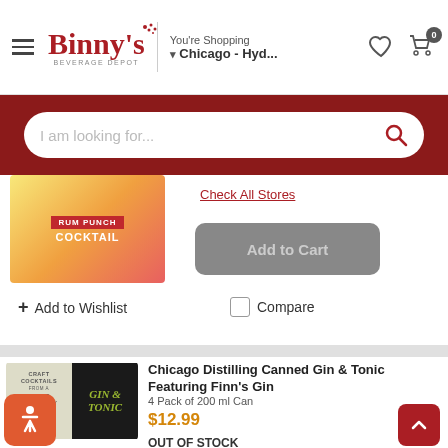Binny's Beverage Depot — You're Shopping Chicago - Hyd...
[Figure (screenshot): Search bar with placeholder text 'I am looking for...' and red search icon on dark red background]
[Figure (photo): Rum Punch Cocktail 4-pack product image (partially visible)]
Check All Stores
Add to Cart
+ Add to Wishlist
Compare
Chicago Distilling Canned Gin & Tonic Featuring Finn's Gin
4 Pack of 200 ml Can
$12.99
OUT OF STOCK
Check All Stores
Add to Cart